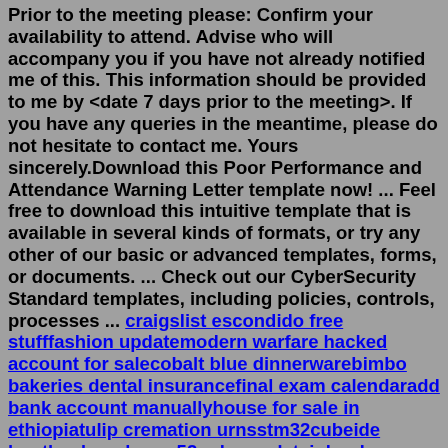Prior to the meeting please: Confirm your availability to attend. Advise who will accompany you if you have not already notified me of this. This information should be provided to me by <date 7 days prior to the meeting>. If you have any queries in the meantime, please do not hesitate to contact me. Yours sincerely.Download this Poor Performance and Attendance Warning Letter template now! ... Feel free to download this intuitive template that is available in several kinds of formats, or try any other of our basic or advanced templates, forms, or documents. ... Check out our CyberSecurity Standard templates, including policies, controls, processes ... craigslist escondido free stufffashion updatemodern warfare hacked account for salecobalt blue dinnerwarebimbo bakeries dental insurancefinal exam calendaradd bank account manuallyhouse for sale in ethiopiatulip cremation urnsstm32cubeide bootloadergalaxy a52 release datejohn deere tractor price xo